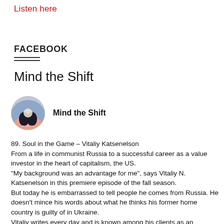Listen here
FACEBOOK
Mind the Shift
[Figure (illustration): Circular profile picture for Mind the Shift page showing a stylized image with pink and blue tones and text 'Mind the Shift']
Mind the Shift
89. Soul in the Game – Vitaliy Katsenelson
From a life in communist Russia to a successful career as a value investor in the heart of capitalism, the US.
"My background was an advantage for me", says Vitaliy N. Katsenelson in this premiere episode of the fall season.
But today he is embarrassed to tell people he comes from Russia. He doesn't mince his words about what he thinks his former home country is guilty of in Ukraine.
Vitaliy writes every day and is known among his clients as an